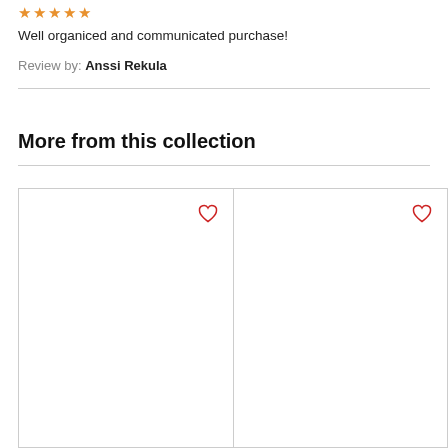[Figure (other): Five orange star rating icons]
Well organiced and communicated purchase!
Review by: Anssi Rekula
More from this collection
[Figure (other): Two product card placeholders with heart/wishlist icons in upper right corners]